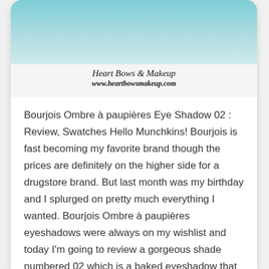[Figure (photo): Product photo of Bourjois Ombre à paupières eye shadow with Heart Bows & Makeup watermark]
Bourjois Ombre à paupières Eye Shadow 02 : Review, Swatches Hello Munchkins! Bourjois is fast becoming my favorite brand though the prices are definitely on the higher side for a drugstore brand. But last month was my birthday and I splurged on pretty much everything I wanted. Bourjois Ombre à paupières eyeshadows were always on my wishlist and today I'm going to review a gorgeous shade numbered 02 which is a baked eyeshadow that can be used both wet and dry. Product Description New silkier …
CLICK HERE TO READ MORE...